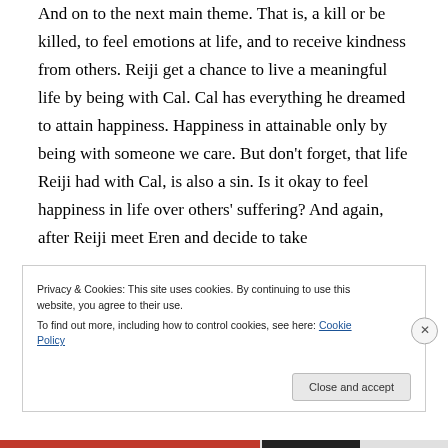And on to the next main theme. That is, a kill or be killed, to feel emotions at life, and to receive kindness from others. Reiji get a chance to live a meaningful life by being with Cal. Cal has everything he dreamed to attain happiness. Happiness in attainable only by being with someone we care. But don't forget, that life Reiji had with Cal, is also a sin. Is it okay to feel happiness in life over others' suffering? And again, after Reiji meet Eren and decide to take
Privacy & Cookies: This site uses cookies. By continuing to use this website, you agree to their use. To find out more, including how to control cookies, see here: Cookie Policy